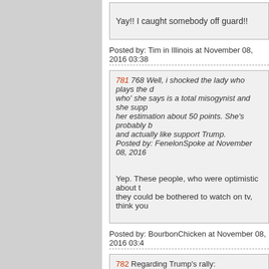Yay!! I caught somebody off guard!!
Posted by: Tim in Illinois at November 08, 2016 03:38
781 768 Well, i shocked the lady who plays the d who' she says is a total misogynist and she supp her estimation about 50 points. She's probably b and actually like support Trump. Posted by: FenelonSpoke at November 08, 2016
Yep. These people, who were optimistic about t they could be bothered to watch on tv, think you
Posted by: BourbonChicken at November 08, 2016 03:4
782 Regarding Trump's rally: Crooked Shrillary had a rally nearby this afterno Trump's rally was scheduled for 11pm, doors op
7:08pm - Mrs. DIG and I parked the car in a gar line stretched from the entrance, around the buil the line halfway across the river on the foot brid and watching people stream past us to get in line former military guys were ahead of us, a lieuten a slightly older Army guy with his wife and thre